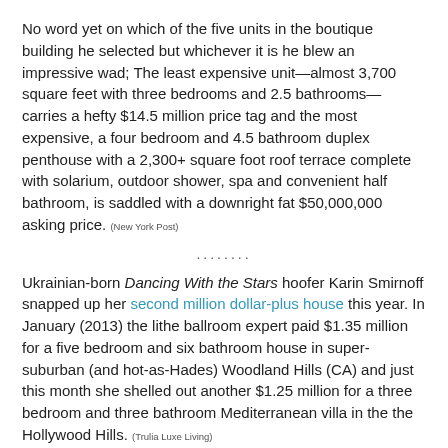No word yet on which of the five units in the boutique building he selected but whichever it is he blew an impressive wad; The least expensive unit—almost 3,700 square feet with three bedrooms and 2.5 bathrooms—carries a hefty $14.5 million price tag and the most expensive, a four bedroom and 4.5 bathroom duplex penthouse with a 2,300+ square foot roof terrace complete with solarium, outdoor shower, spa and convenient half bathroom, is saddled with a downright fat $50,000,000 asking price. (New York Post)
........
Ukrainian-born Dancing With the Stars hoofer Karin Smirnoff snapped up her second million dollar-plus house this year. In January (2013) the lithe ballroom expert paid $1.35 million for a five bedroom and six bathroom house in super-suburban (and hot-as-Hades) Woodland Hills (CA) and just this month she shelled out another $1.25 million for a three bedroom and three bathroom Mediterranean villa in the the Hollywood Hills. (Trulia Luxe Living)